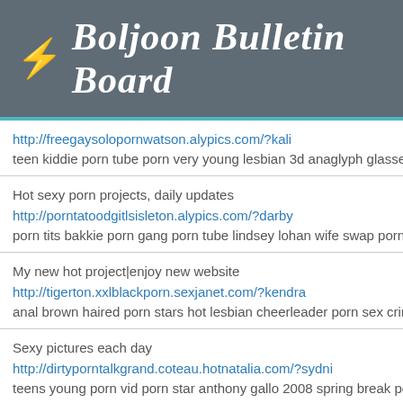⚡ Boljoon Bulletin Board
http://freegaysolopornwatson.alypics.com/?kali
teen kiddie porn tube porn very young lesbian 3d anaglyph glasses p
Hot sexy porn projects, daily updates
http://porntatoodgitlsisleton.alypics.com/?darby
porn tits bakkie porn gang porn tube lindsey lohan wife swap porn vid
My new hot project|enjoy new website
http://tigerton.xxlblackporn.sexjanet.com/?kendra
anal brown haired porn stars hot lesbian cheerleader porn sex crimes
Sexy pictures each day
http://dirtyporntalkgrand.coteau.hotnatalia.com/?sydni
teens young porn vid porn star anthony gallo 2008 spring break porn
Girls of Desire: All babes in one place, crazy, art
http://galeton.pornharddrive.miyubot.com/?taliyah